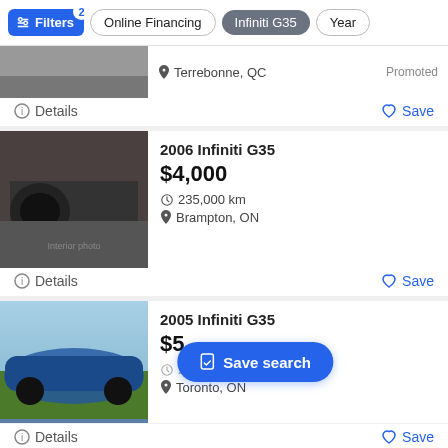Filters (2 active) | Online Financing | Infiniti G35 | Year
Terrebonne, QC  Promoted
Details   Save
2006 Infiniti G35
$4,000
235,000 km
Brampton, ON
Details   Save
2005 Infiniti G35
$5...
274,000 km
Toronto, ON
Save search
Details   Save